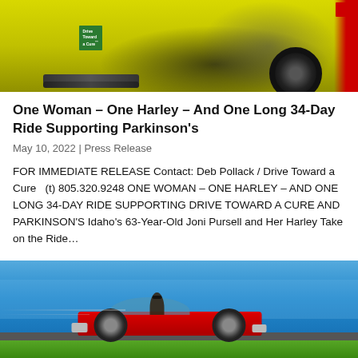[Figure (photo): Yellow Harley-Davidson motorcycle with 'Drive Toward a Cure' badge, red accent on right side, dark engine and wheel visible]
One Woman – One Harley – And One Long 34-Day Ride Supporting Parkinson's
May 10, 2022 | Press Release
FOR IMMEDIATE RELEASE Contact: Deb Pollack / Drive Toward a Cure   (t) 805.320.9248 ONE WOMAN – ONE HARLEY – AND ONE LONG 34-DAY RIDE SUPPORTING DRIVE TOWARD A CURE AND PARKINSON'S Idaho's 63-Year-Old Joni Pursell and Her Harley Take on the Ride…
[Figure (photo): Red convertible Volkswagen Beetle driving along coastal road with ocean in background, person visible in driver seat]